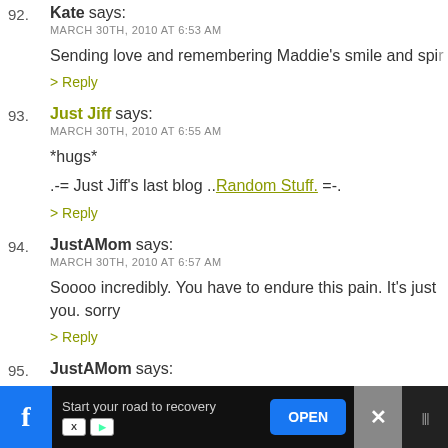92. Kate says: MARCH 30TH, 2010 AT 6:53 AM
Sending love and remembering Maddie's smile and spi...
> Reply
93. Just Jiff says: MARCH 30TH, 2010 AT 6:55 AM
*hugs*
.-= Just Jiff's last blog ..Random Stuff. =-.
> Reply
94. JustAMom says: MARCH 30TH, 2010 AT 6:57 AM
Soooo incredibly. You have to endure this pain. It's just you. sorry
> Reply
95. JustAMom says: